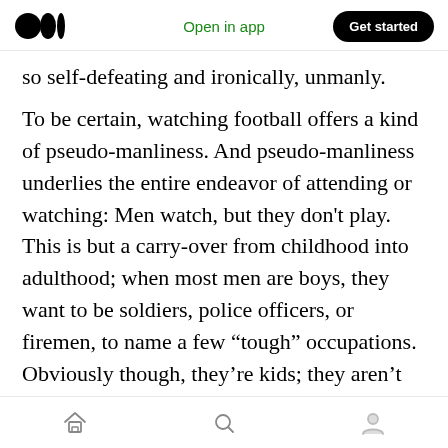Medium logo | Open in app | Get started
so self-defeating and ironically, unmanly.
To be certain, watching football offers a kind of pseudo-manliness. And pseudo-manliness underlies the entire endeavor of attending or watching: Men watch, but they don't play. This is but a carry-over from childhood into adulthood; when most men are boys, they want to be soldiers, police officers, or firemen, to name a few “tough” occupations. Obviously though, they’re kids; they aren’t real soldiers, or police officers, or firemen, so they play soldier — they play war. And this innate desire to be tough, to be part of a
Home | Search | Profile